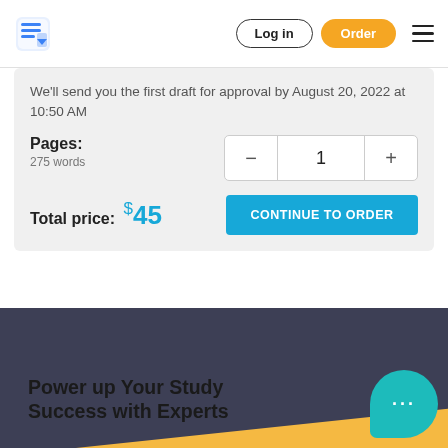Log in | Order
We'll send you the first draft for approval by August 20, 2022 at 10:50 AM
Pages:
275 words
Total price: $45
CONTINUE TO ORDER
Power up Your Study Success with Experts